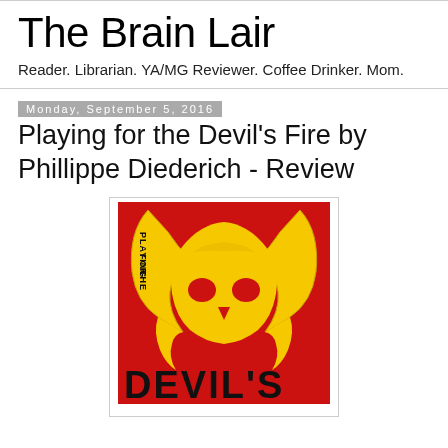The Brain Lair
Reader. Librarian. YA/MG Reviewer. Coffee Drinker. Mom.
Monday, September 5, 2016
Playing for the Devil's Fire by Phillippe Diederich - Review
[Figure (photo): Book cover of 'Playing for the Devil's Fire' by Phillippe Diederich - red background with yellow stylized devil/fire mask graphic and bold black text reading DEVIL'S across the bottom]